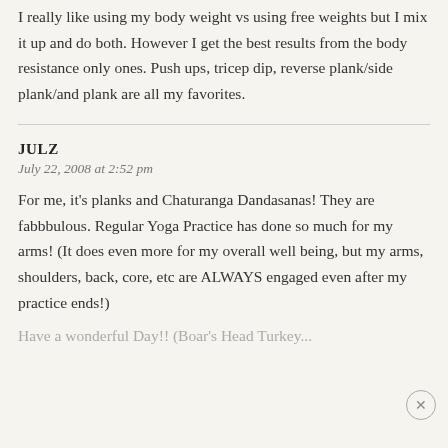I really like using my body weight vs using free weights but I mix it up and do both. However I get the best results from the body resistance only ones. Push ups, tricep dip, reverse plank/side plank/and plank are all my favorites.
JULZ
July 22, 2008 at 2:52 pm
For me, it's planks and Chaturanga Dandasanas! They are fabbbulous. Regular Yoga Practice has done so much for my arms! (It does even more for my overall well being, but my arms, shoulders, back, core, etc are ALWAYS engaged even after my practice ends!)
Have a wonderful Day!! (Boar's Head Turkey...